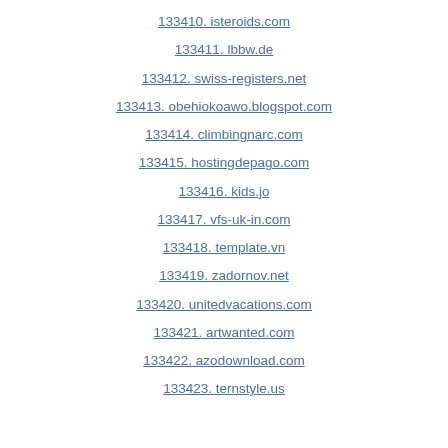133410. isteroids.com
133411. lbbw.de
133412. swiss-registers.net
133413. obehiokoawo.blogspot.com
133414. climbingnarc.com
133415. hostingdepago.com
133416. kids.jo
133417. vfs-uk-in.com
133418. template.vn
133419. zadornov.net
133420. unitedvacations.com
133421. artwanted.com
133422. azodownload.com
133423. ternstyle.us